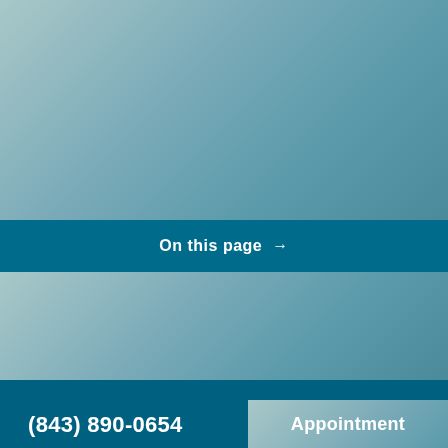[Figure (photo): Teal/blue-green gradient background image occupying the top portion of the page]
On this page →
[Figure (photo): Teal/blue-green gradient background image occupying the middle portion of the page]
(843) 890-0654
Appointment